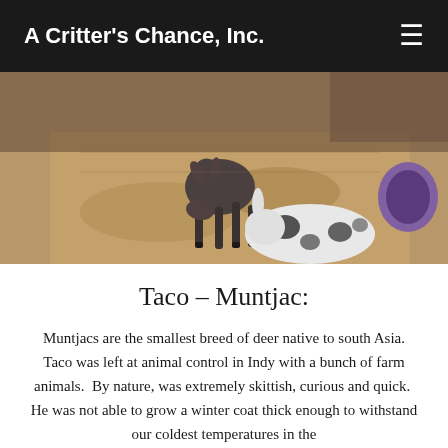A Critter's Chance, Inc.
[Figure (photo): A small muntjac deer standing on a patterned rug, sniffing a black and white rabbit. A purple barrel or tunnel is visible on the right side.]
Taco – Muntjac:
Muntjacs are the smallest breed of deer native to south Asia. Taco was left at animal control in Indy with a bunch of farm animals.  By nature, was extremely skittish, curious and quick.  He was not able to grow a winter coat thick enough to withstand our coldest temperatures in the